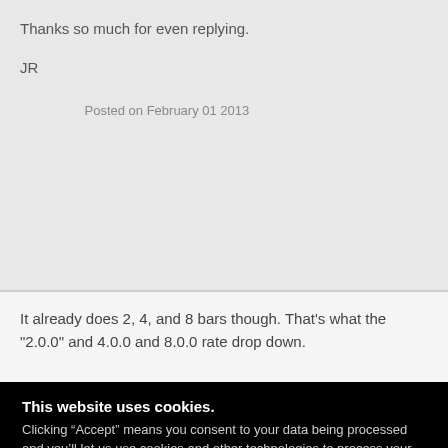Thanks so much for even replying.
JR
Posted on February 01 2013
It already does 2, 4, and 8 bars though. That's what the "2.0.0" and 4.0.0 and 8.0.0 rate drop down.
This website uses cookies. Clicking “Accept” means you consent to your data being processed and you’ll let us use cookies and other technologies to process your personal information to personalize and enhance your experience. Click “Close” to deny consent and continue with technically required cookies that are essential for the website to function.
Accept
Close
Privacy Policy